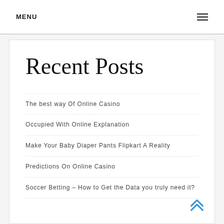MENU ☰
Recent Posts
The best way Of Online Casino
Occupied With Online Explanation
Make Your Baby Diaper Pants Flipkart A Reality
Predictions On Online Casino
Soccer Betting – How to Get the Data you truly need it?